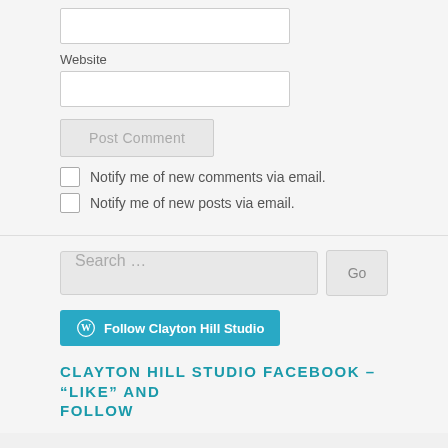Website
Post Comment
Notify me of new comments via email.
Notify me of new posts via email.
Search …
Go
Follow Clayton Hill Studio
CLAYTON HILL STUDIO FACEBOOK – "LIKE" AND FOLLOW